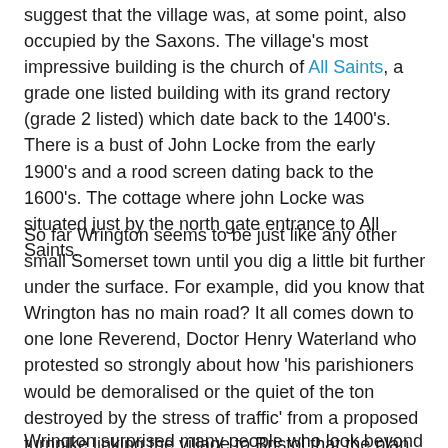suggest that the village was, at some point, also occupied by the Saxons. The village's most impressive building is the church of All Saints, a grade one listed building with its grand rectory (grade 2 listed) which date back to the 1400's. There is a bust of John Locke from the early 1900's and a rood screen dating back to the 1600's. The cottage where john Locke was situated just by the north gate entrance to All Saints.
So far Wrington seems to be just like any other small Somerset town until you dig a little bit further under the surface. For example, did you know that Wrington has no main road? It all comes down to one lone Reverend, Doctor Henry Waterland who protested so strongly about how 'his parishioners would be demoralised or the quiet of the ton destroyed by the stress of traffic' from a proposed turnpike linking the village to Bristol that the plan was abandoned and no road built. The road instead was moved away from the village and today the only way to get to the village is be one a a series of narrow winding country lanes.
Wrington surprised many people who look beyond to see